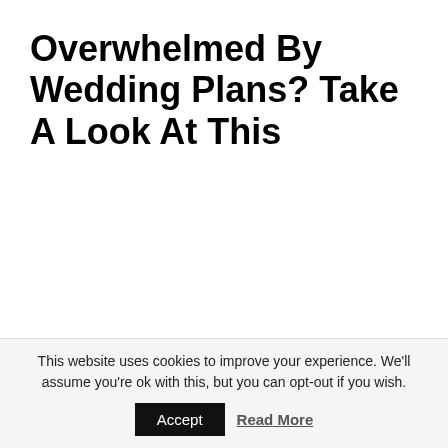Overwhelmed By Wedding Plans? Take A Look At This
This website uses cookies to improve your experience. We'll assume you're ok with this, but you can opt-out if you wish.